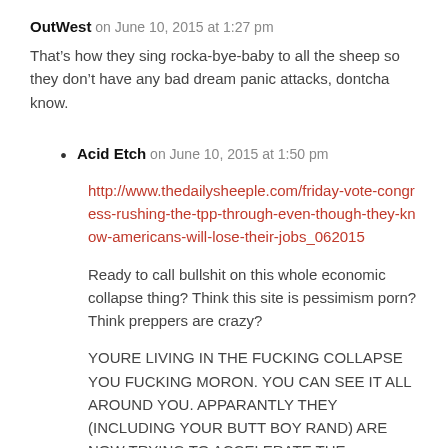OutWest on June 10, 2015 at 1:27 pm
That’s how they sing rocka-bye-baby to all the sheep so they don’t have any bad dream panic attacks, dontcha know.
Acid Etch on June 10, 2015 at 1:50 pm
http://www.thedailysheeple.com/friday-vote-congress-rushing-the-tpp-through-even-though-they-know-americans-will-lose-their-jobs_062015
Ready to call bullshit on this whole economic collapse thing? Think this site is pessimism porn? Think preppers are crazy?
YOURE LIVING IN THE FUCKING COLLAPSE YOU FUCKING MORON. YOU CAN SEE IT ALL AROUND YOU. APPARANTLY THEY (INCLUDING YOUR BUTT BOY RAND) ARE NOW TRYING TO ACCELERATE THE